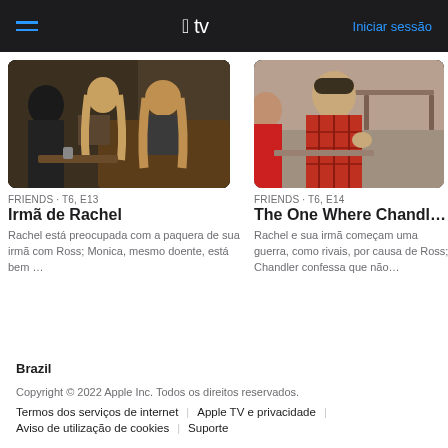Apple TV — Iniciar sessão
[Figure (screenshot): TV show thumbnail for FRIENDS T6 E13 - Irmã de Rachel, showing characters in a living room scene]
FRIENDS · T6, E13
Irmã de Rachel
Rachel está preocupada com a paquera de sua irmã com Ross; Monica, mesmo doente, está bem …
[Figure (screenshot): TV show thumbnail for FRIENDS T6 E14 - The One Where Chandler, showing a man in a red plaid shirt in a coffee shop]
FRIENDS · T6, E14
The One Where Chandler …
Rachel e sua irmã começam uma guerra, como rivais, por causa de Ross; Chandler confessa que não…
Brazil
Copyright © 2022 Apple Inc. Todos os direitos reservados.
Termos dos serviços de internet | Apple TV e privacidade | Aviso de utilização de cookies | Suporte